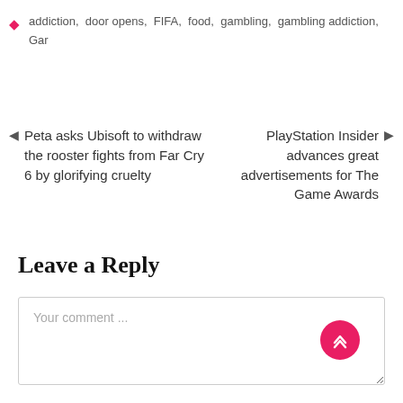addiction, door opens, FIFA, food, gambling, gambling addiction, Gar
Peta asks Ubisoft to withdraw the rooster fights from Far Cry 6 by glorifying cruelty
PlayStation Insider advances great advertisements for The Game Awards
Leave a Reply
Your comment ...